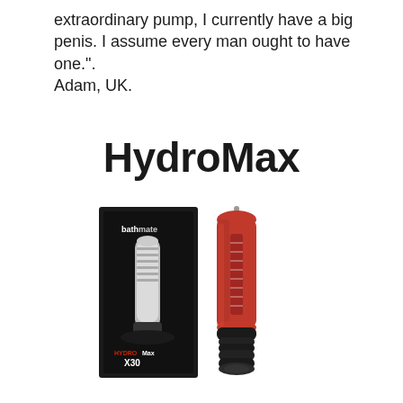extraordinary pump, I currently have a big penis. I assume every man ought to have one.". Adam, UK.
HydroMax
[Figure (photo): Product photo of Bathmate HydroMax X30 pump — a red/black cylindrical pump device shown next to its black product box labeled 'bathmate HydroMax X30']